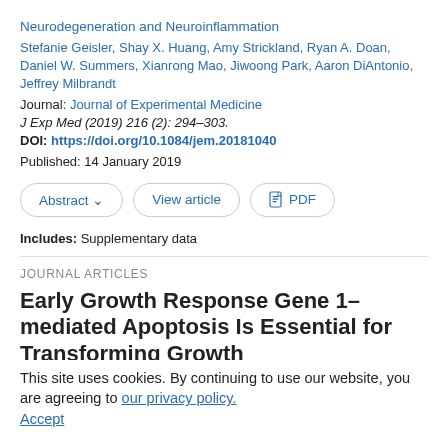Neurodegeneration and Neuroinflammation
Stefanie Geisler, Shay X. Huang, Amy Strickland, Ryan A. Doan, Daniel W. Summers, Xianrong Mao, Jiwoong Park, Aaron DiAntonio, Jeffrey Milbrandt
Journal: Journal of Experimental Medicine
J Exp Med (2019) 216 (2): 294–303.
DOI: https://doi.org/10.1084/jem.20181040
Published: 14 January 2019
[Figure (other): Three buttons: Abstract (with chevron), View article, PDF]
Includes: Supplementary data
JOURNAL ARTICLES
Early Growth Response Gene 1–mediated Apoptosis Is Essential for Transforming Growth Factor β–induced Pulmonary Fibrosis
This site uses cookies. By continuing to use our website, you are agreeing to our privacy policy. Accept